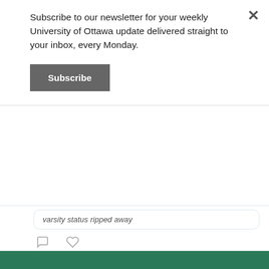Subscribe to our newsletter for your weekly University of Ottawa update delivered straight to your inbox, every Monday.
Subscribe
varsity status ripped away
The Fulcrum @The_Fulcrum · Jul 17
Luke Bryan, Rage Against the Machine, and Milky Chance killed their sets heading into the final weekend of Bluesfest

There are only two days left of Ottawa's summer music festival

ow.ly/47a850JXvoU